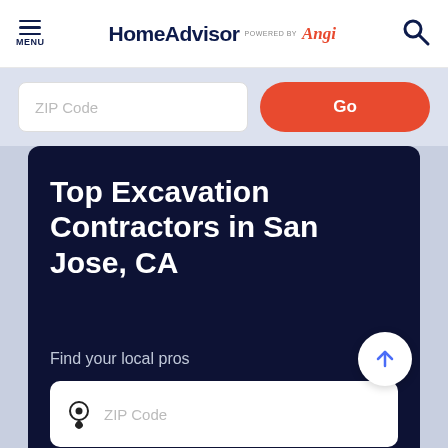MENU | HomeAdvisor powered by Angi
ZIP Code | Go
Top Excavation Contractors in San Jose, CA
Find your local pros
ZIP Code
Find Pros